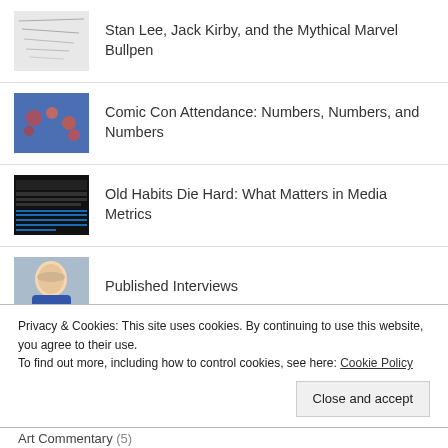Stan Lee, Jack Kirby, and the Mythical Marvel Bullpen
Comic Con Attendance: Numbers, Numbers, and Numbers
Old Habits Die Hard: What Matters in Media Metrics
Published Interviews
Knowing Alex Proyas's 'Knowing'
Privacy & Cookies: This site uses cookies. By continuing to use this website, you agree to their use.
To find out more, including how to control cookies, see here: Cookie Policy
Close and accept
Art Commentary (5)